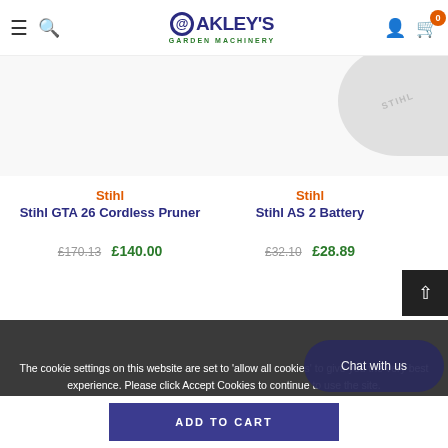Oakley's Garden Machinery — navigation header with hamburger menu, search, logo, account, and cart (0 items)
[Figure (photo): Partial product image — Stihl branded round badge/product visible in top right corner]
Stihl
Stihl GTA 26 Cordless Pruner
£170.13  £140.00
Stihl
Stihl AS 2 Battery
£32.10  £28.89
The cookie settings on this website are set to 'allow all cookies' to give you the very best experience. Please click Accept Cookies to continue to use the site.
PRIVACY POLICY   ACCEPT
Chat with us
ADD TO CART